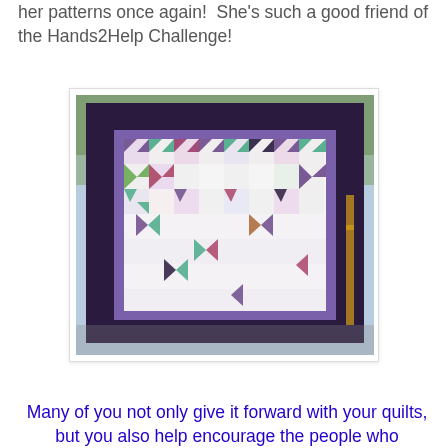her patterns once again!  She's such a good friend of the Hands2Help Challenge!
[Figure (photo): A patchwork quilt with purple border and star/pinwheel pattern in white, teal, pink, and dark floral fabrics, hung outdoors on a metal structure.]
Many of you not only give it forward with your quilts, but you also help encourage the people who